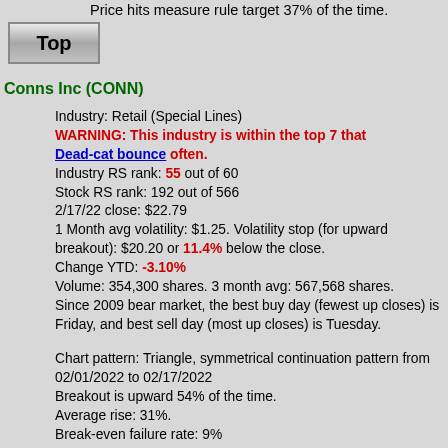Price hits measure rule target 37% of the time.
[Figure (other): Button labeled 'Top']
Conns Inc (CONN)
Industry: Retail (Special Lines)
WARNING: This industry is within the top 7 that Dead-cat bounce often.
Industry RS rank: 55 out of 60
Stock RS rank: 192 out of 566
2/17/22 close: $22.79
1 Month avg volatility: $1.25. Volatility stop (for upward breakout): $20.20 or 11.4% below the close.
Change YTD: -3.10%
Volume: 354,300 shares. 3 month avg: 567,568 shares.
Since 2009 bear market, the best buy day (fewest up closes) is Friday, and best sell day (most up closes) is Tuesday.
Chart pattern: Triangle, symmetrical continuation pattern from 02/01/2022 to 02/17/2022
Breakout is upward 54% of the time.
Average rise: 31%.
Break-even failure rate: 9%